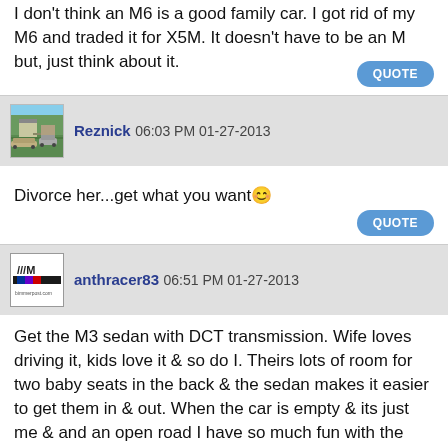I don't think an M6 is a good family car. I got rid of my M6 and traded it for X5M. It doesn't have to be an M but, just think about it.
QUOTE
Reznick 06:03 PM 01-27-2013
Divorce her...get what you want😊
QUOTE
anthracer83 06:51 PM 01-27-2013
Get the M3 sedan with DCT transmission. Wife loves driving it, kids love it & so do I. Theirs lots of room for two baby seats in the back & the sedan makes it easier to get them in & out. When the car is empty & its just me & and an open road I have so much fun with the car. E90 M3 is the best all around for me & my family for what I need it for.